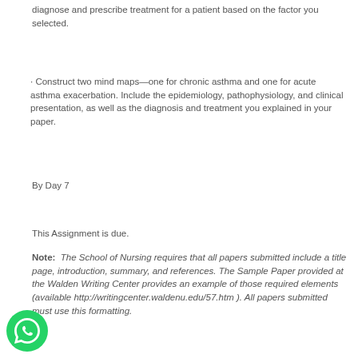diagnose and prescribe treatment for a patient based on the factor you selected.
· Construct two mind maps—one for chronic asthma and one for acute asthma exacerbation. Include the epidemiology, pathophysiology, and clinical presentation, as well as the diagnosis and treatment you explained in your paper.
By Day 7
This Assignment is due.
Note:  The School of Nursing requires that all papers submitted include a title page, introduction, summary, and references. The Sample Paper provided at the Walden Writing Center provides an example of those required elements (available http://writingcenter.waldenu.edu/57.htm ). All papers submitted must use this formatting.